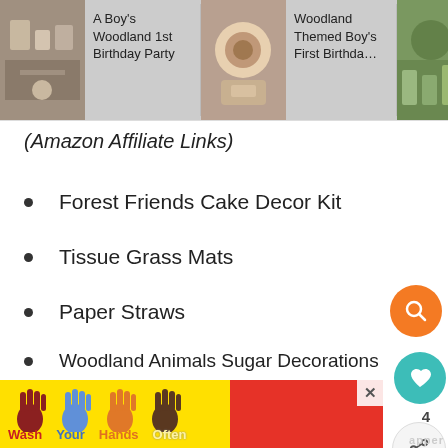[Figure (screenshot): Top image strip showing three woodland birthday party themed images with labels: 'A Boy's Woodland 1st Birthday Party', 'Woodland Themed Boy's First Birthda…', '26 Woodla… >hem Birthday P']
(Amazon Affiliate Links)
Forest Friends Cake Decor Kit
Tissue Grass Mats
Paper Straws
Woodland Animals Sugar Decorations
Woodland Round Party Sticker
Woodland Creatures Party Favor Boxes
Woodland Squiggle Party Sticker Labels
Woodland Water Bottle Labels
[Figure (screenshot): Ad banner at bottom: Wash Your Hands Often hand-washing advertisement with colorful illustrated hands on yellow and red background]
[Figure (screenshot): Floating action buttons on right side: orange search button, teal heart/save button with count 4, share button]